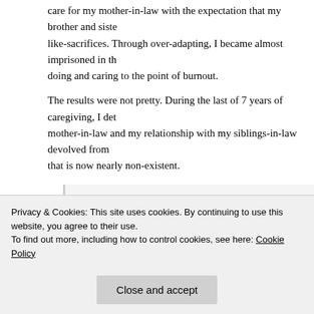care for my mother-in-law with the expectation that my brother and sister-like-sacrifices. Through over-adapting, I became almost imprisoned in the doing and caring to the point of burnout.
The results were not pretty. During the last of 7 years of caregiving, I deta mother-in-law and my relationship with my siblings-in-law devolved from that is now nearly non-existent.
“Where do we go from here? Well, I really don’t know, but I do the kind of relationship my husband wants with his family, my siblings’ receptiveness and response. David has never been p relationships. The frequent interaction we had with his family moved north all revolved around her. I don’t know if the curren a matter of returning to the old status quo or if it is about hurt. moved on” in their best “we don’t talk about it” fashion. Time on will include us, or not. This is not the way I would handle it,
Privacy & Cookies: This site uses cookies. By continuing to use this website, you agree to their use.
To find out more, including how to control cookies, see here: Cookie Policy
Close and accept